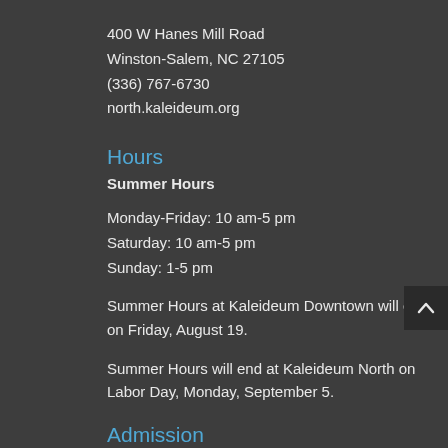400 W Hanes Mill Road
Winston-Salem, NC 27105
(336) 767-6730
north.kaleideum.org
Hours
Summer Hours
Monday-Friday: 10 am-5 pm
Saturday: 10 am-5 pm
Sunday: 1-5 pm
Summer Hours at Kaleideum Downtown will end on Friday, August 19.
Summer Hours will end at Kaleideum North on Labor Day, Monday, September 5.
Admission